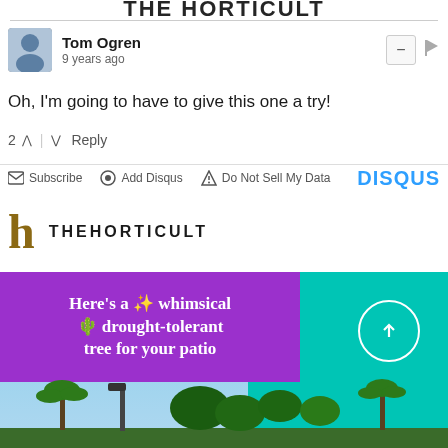The Horticult
Tom Ogren
9 years ago
Oh, I'm going to have to give this one a try!
2 ^ | v Reply
Subscribe  Add Disqus  Do Not Sell My Data  DISQUS
[Figure (logo): The Horticult logo with a stylized golden 'h' and the text THEHORTICULT]
[Figure (photo): An advertisement image with a purple banner reading 'Here's a whimsical drought-tolerant tree for your patio' overlaid on a photo of palm trees and sky, with a teal background panel and a white circle arrow button]